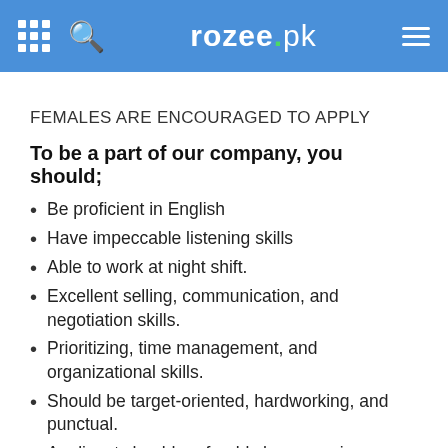rozee.pk
FEMALES ARE ENCOURAGED TO APPLY
To be a part of our company, you should;
Be proficient in English
Have impeccable listening skills
Able to work at night shift.
Excellent selling, communication, and negotiation skills.
Prioritizing, time management, and organizational skills.
Should be target-oriented, hardworking, and punctual.
Applicant should preferably have previous Telesales experience in a US campaign.
Fresh candidates with good communication